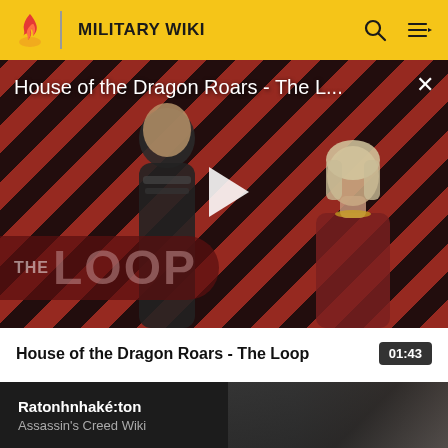MILITARY WIKI
[Figure (screenshot): Video player showing 'House of the Dragon Roars - The L...' with a diagonal red and dark stripe background, two characters (armored figure and a woman with blonde hair), a white play button in the center, and 'THE LOOP' branding in the lower left. An X close button is in the upper right.]
House of the Dragon Roars - The Loop  01:43
[Figure (screenshot): Next video card showing dark background with a character image on the right side, title 'Ratonhnhaké:ton' and subtitle 'Assassin's Creed Wiki']